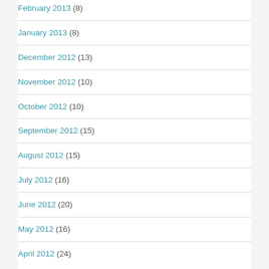February 2013 (8)
January 2013 (8)
December 2012 (13)
November 2012 (10)
October 2012 (10)
September 2012 (15)
August 2012 (15)
July 2012 (16)
June 2012 (20)
May 2012 (16)
April 2012 (24)